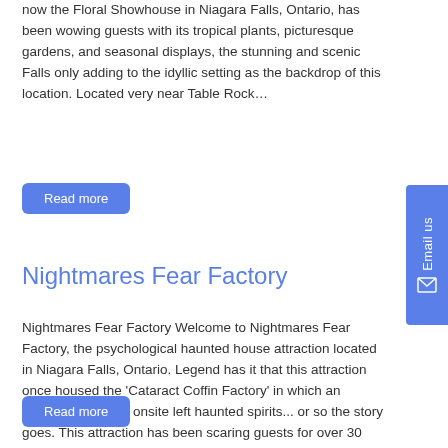now the Floral Showhouse in Niagara Falls, Ontario, has been wowing guests with its tropical plants, picturesque gardens, and seasonal displays, the stunning and scenic Falls only adding to the idyllic setting as the backdrop of this location. Located very near Table Rock…
Read more
Nightmares Fear Factory
Nightmares Fear Factory Welcome to Nightmares Fear Factory, the psychological haunted house attraction located in Niagara Falls, Ontario. Legend has it that this attraction once housed the 'Cataract Coffin Factory' in which an accidental murder onsite left haunted spirits... or so the story goes. This attraction has been scaring guests for over 30 years now,…
Read more